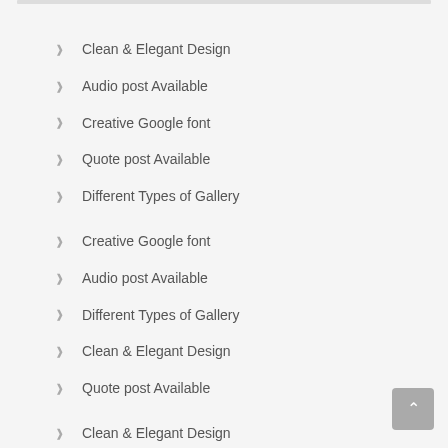Clean & Elegant Design
Audio post Available
Creative Google font
Quote post Available
Different Types of Gallery
Creative Google font
Audio post Available
Different Types of Gallery
Clean & Elegant Design
Quote post Available
Clean & Elegant Design
Audio post Available